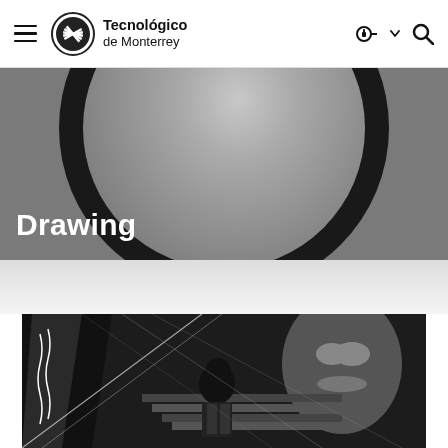Tecnológico de Monterrey
[Figure (photo): Hero banner with large dark circle/porthole on grey background, with 'Drawing' text overlay]
Drawing
[Figure (photo): Black and white photo of a person standing in front of a mural with graphic art]